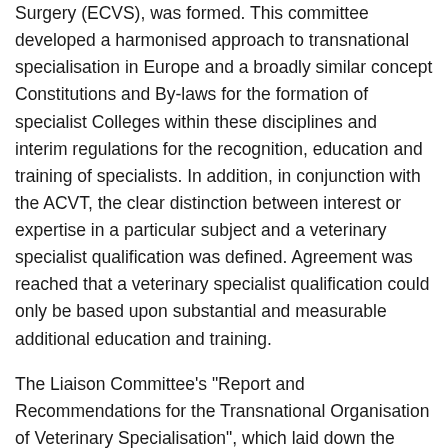Surgery (ECVS), was formed. This committee developed a harmonised approach to transnational specialisation in Europe and a broadly similar concept Constitutions and By-laws for the formation of specialist Colleges within these disciplines and interim regulations for the recognition, education and training of specialists. In addition, in conjunction with the ACVT, the clear distinction between interest or expertise in a particular subject and a veterinary specialist qualification was defined. Agreement was reached that a veterinary specialist qualification could only be based upon substantial and measurable additional education and training.
The Liaison Committee's "Report and Recommendations for the Transnational Organisation of Veterinary Specialisation", which laid down the